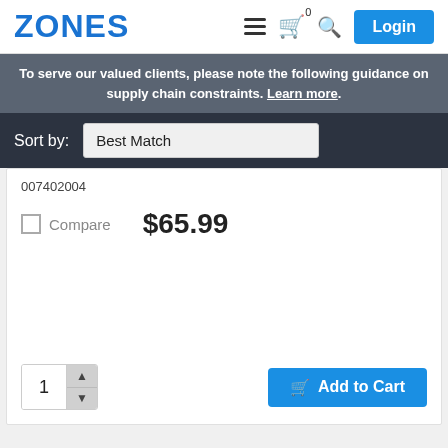[Figure (logo): ZONES logo in blue bold text]
To serve our valued clients, please note the following guidance on supply chain constraints. Learn more.
Sort by: Best Match
007402004
Compare  $65.99
1  Add to Cart